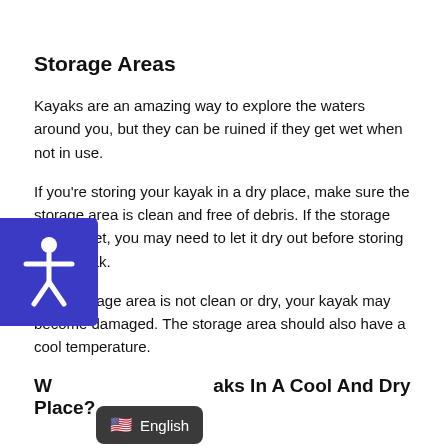Storage Areas
Kayaks are an amazing way to explore the waters around you, but they can be ruined if they get wet when not in use.
If you're storing your kayak in a dry place, make sure the storage area is clean and free of debris. If the storage area is wet, you may need to let it dry out before storing your kayak.
If the storage area is not clean or dry, your kayak may become damaged. The storage area should also have a cool temperature.
W... aks In A Cool And Dry Place?